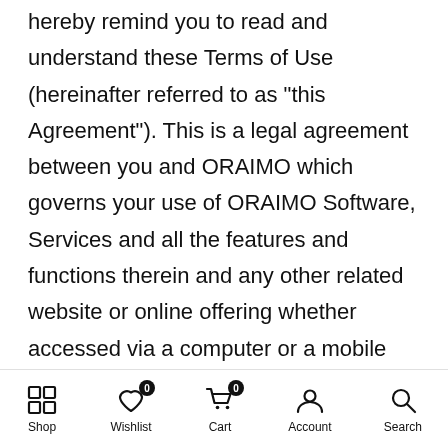hereby remind you to read and understand these Terms of Use (hereinafter referred to as "this Agreement"). This is a legal agreement between you and ORAIMO which governs your use of ORAIMO Software, Services and all the features and functions therein and any other related website or online offering whether accessed via a computer or a mobile device or through any other technology, manner or means. For proper use of ORAIMO system and software (hereinafter collectively referred to as the "Software") and ORAIMO services (hereinafter collectively referred to as the "Service"), please read carefully and fully understand the terms and conditions herein before you use your ORAIMO device or
Shop | Wishlist | Cart | Account | Search